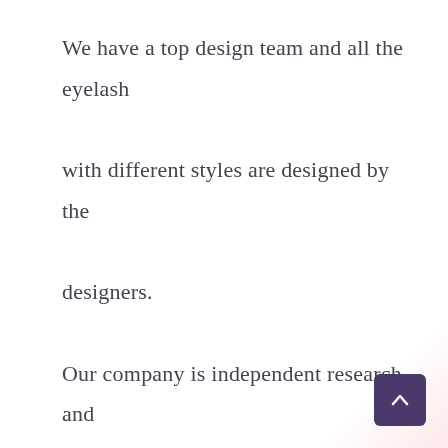We have a top design team and all the eyelash with different styles are designed by the designers. Our company is independent research and development, design and production integration of the all-around company, and belongs to the most professional ODM and OEM Mink Eyelashes Suppliers.